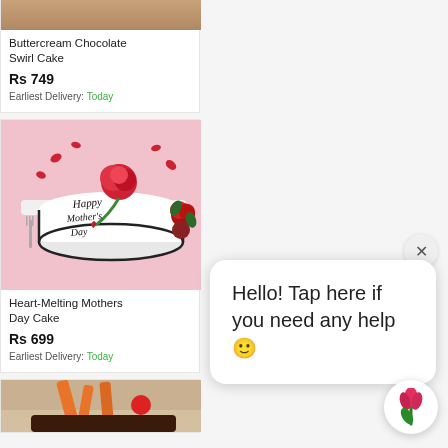[Figure (photo): Partial top view of Buttercream Chocolate Swirl Cake image (cropped at top)]
Buttercream Chocolate Swirl Cake
Rs 749
Earliest Delivery: Today
[Figure (photo): White fondant cake with red carnation flowers and 'Happy Mother's Day' text written in black cursive script, on a pink background]
Heart-Melting Mothers Day Cake
Rs 699
Earliest Delivery: Today
[Figure (photo): Partial bottom view of a chocolate cake with orange/carrot garnish]
Hello! Tap here if you need any help 🙂
[Figure (logo): Chat button icon showing a red tulip flower with green stem on white circular background]